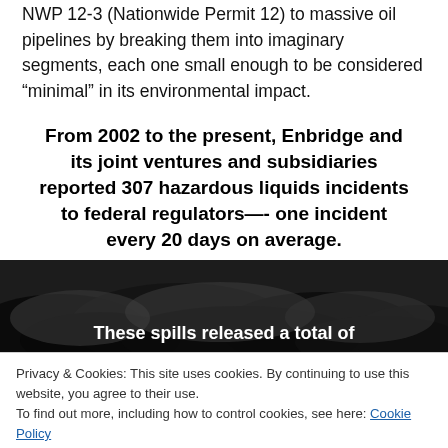NWP 12-3 (Nationwide Permit 12) to massive oil pipelines by breaking them into imaginary segments, each one small enough to be considered “minimal” in its environmental impact.
From 2002 to the present, Enbridge and its joint ventures and subsidiaries reported 307 hazardous liquids incidents to federal regulators—- one incident every 20 days on average.
[Figure (photo): Dark photographic image of oil spill or dark liquid on landscape, with white text overlay reading 'These spills released a total of']
These spills released a total of
Privacy & Cookies: This site uses cookies. By continuing to use this website, you agree to their use.
To find out more, including how to control cookies, see here: Cookie Policy
Close and accept
Be a system protected